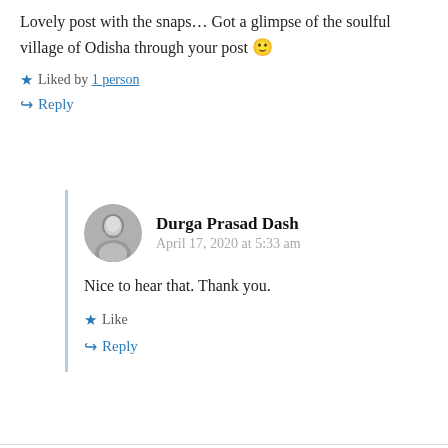Lovely post with the snaps… Got a glimpse of the soulful village of Odisha through your post 🙂
★ Liked by 1 person
↪ Reply
Durga Prasad Dash
April 17, 2020 at 5:33 am
Nice to hear that. Thank you.
★ Like
↪ Reply